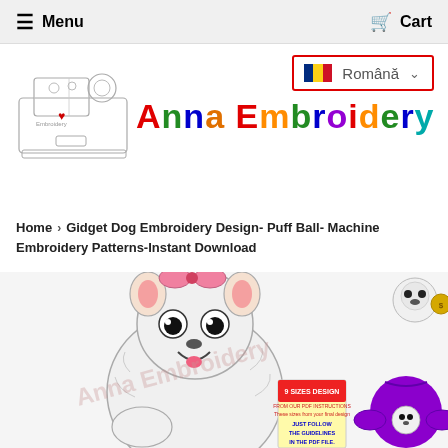☰ Menu   🛒 Cart
[Figure (screenshot): Language selector button with Romanian flag and text 'Română' with dropdown chevron, outlined in red border]
[Figure (logo): Anna Embroidery logo with sewing machine illustration and colorful brand name text]
Home › Gidget Dog Embroidery Design- Puff Ball- Machine Embroidery Patterns-Instant Download
[Figure (illustration): Gidget Dog embroidery design showing a white fluffy Pomeranian dog with pink bow, holding a sign reading '9 SIZES DESIGN, JUST FOLLOW THE GUIDELINES IN THE PDF FILE.' with a small thumbnail of the design and a purple sweater with the design applied. Watermark reads 'Anna Embroidery'.]